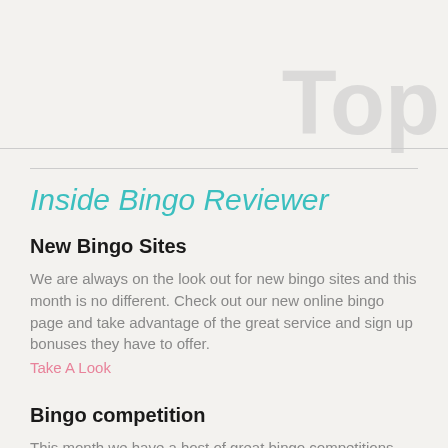Top
Inside Bingo Reviewer
New Bingo Sites
We are always on the look out for new bingo sites and this month is no different. Check out our new online bingo page and take advantage of the great service and sign up bonuses they have to offer.
Take A Look
Bingo competition
This month we have a host of great bingo competitions. Enter to win a 16GB iPad 2 as well as other cool prizes. Don't forget to take a look at our no deposit bingo offers too, simply click the offers tab.
Take A Look